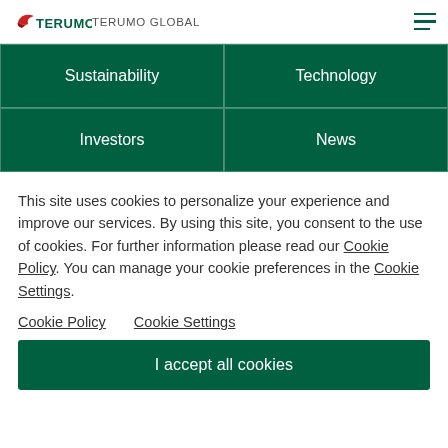TERUMO GLOBAL
| Sustainability | Technology |
| --- | --- |
| Investors | News |
This site uses cookies to personalize your experience and improve our services. By using this site, you consent to the use of cookies. For further information please read our Cookie Policy. You can manage your cookie preferences in the Cookie Settings.
Cookie Policy
Cookie Settings
I accept all cookies